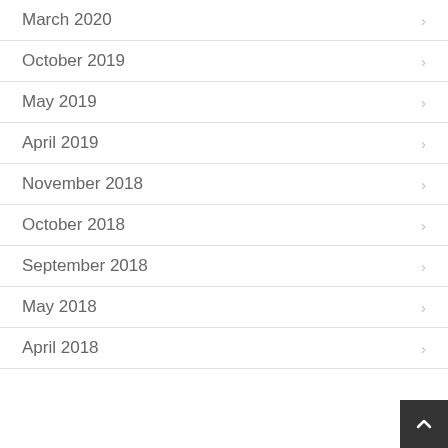March 2020
October 2019
May 2019
April 2019
November 2018
October 2018
September 2018
May 2018
April 2018